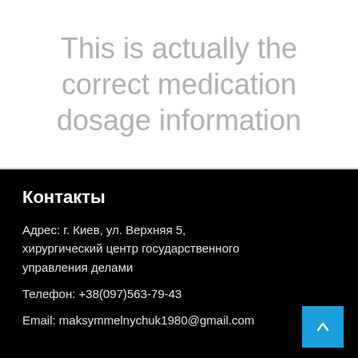This is actually the correct medication dosage information
Контакты
Адрес: г. Киев, ул. Верхняя 5, хирургический центр государственного управления делами
Телефон: +38(097)563-79-43
Email: maksymmelnychuk1980@gmail.com